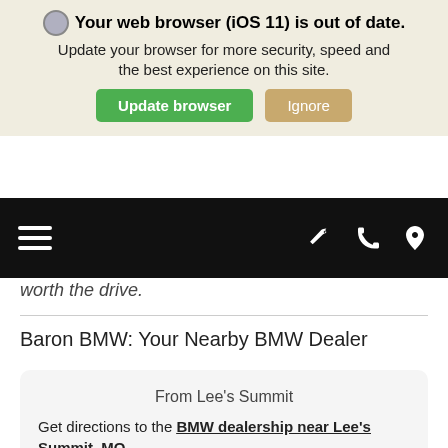[Figure (screenshot): Browser update notification banner with icon, bold title 'Your web browser (iOS 11) is out of date.', body text, Update browser (green) and Ignore (tan) buttons over a beige background]
[Figure (screenshot): Black navigation bar with hamburger menu on left and wrench, phone, location pin icons on right]
worth the drive.
Baron BMW: Your Nearby BMW Dealer
From Lee's Summit
Get directions to the BMW dealership near Lee's Summit, MO.
Get Directions